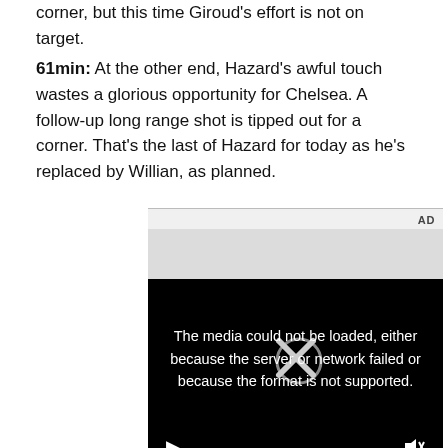corner, but this time Giroud's effort is not on target.
61min: At the other end, Hazard's awful touch wastes a glorious opportunity for Chelsea. A follow-up long range shot is tipped out for a corner. That's the last of Hazard for today as he's replaced by Willian, as planned.
[Figure (other): Video player showing error message: 'The media could not be loaded, either because the server or network failed or because the format is not supported.' with play and mute controls. AD label shown above.]